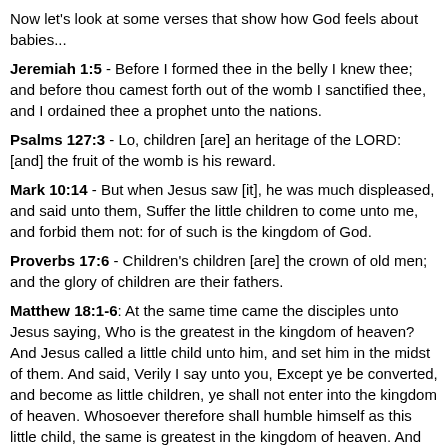Now let's look at some verses that show how God feels about babies...
Jeremiah 1:5 - Before I formed thee in the belly I knew thee; and before thou camest forth out of the womb I sanctified thee, and I ordained thee a prophet unto the nations.
Psalms 127:3 - Lo, children [are] an heritage of the LORD: [and] the fruit of the womb is his reward.
Mark 10:14 - But when Jesus saw [it], he was much displeased, and said unto them, Suffer the little children to come unto me, and forbid them not: for of such is the kingdom of God.
Proverbs 17:6 - Children's children [are] the crown of old men; and the glory of children are their fathers.
Matthew 18:1-6: At the same time came the disciples unto Jesus saying, Who is the greatest in the kingdom of heaven? And Jesus called a little child unto him, and set him in the midst of them. And said, Verily I say unto you, Except ye be converted, and become as little children, ye shall not enter into the kingdom of heaven. Whosoever therefore shall humble himself as this little child, the same is greatest in the kingdom of heaven. And whosoever shall receive one such little child in my name receiveth me. But whoso shall offend one of these little ones which believe in me, it were better for him that a millstone were hanged about his neck...
Here is some commentary on some other Bible verses that one would use at http://www.biblebelievers.com/Stocker1.html (please copy and drop into browser)
The first passage to be sited is Job 10:18, "Wherefore then hast thou brought me forth out of the womb? Oh that I had given up the ghost, and no eye had seen me. " This passage shows without a doubt that Job believed that life begins at conception, because what leaves the womb is alive. Since "the body without the spirit is dead, '" then the spirit is evident in the womb. But what kind of life? Human life, that's easy. If it was a dog, it would be dog's life, since...